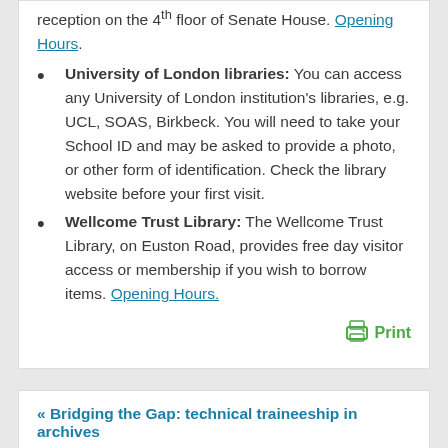University of London libraries: You can access any University of London institution's libraries, e.g. UCL, SOAS, Birkbeck. You will need to take your School ID and may be asked to provide a photo, or other form of identification. Check the library website before your first visit.
Wellcome Trust Library: The Wellcome Trust Library, on Euston Road, provides free day visitor access or membership if you wish to borrow items. Opening Hours.
« Bridging the Gap: technical traineeship in archives